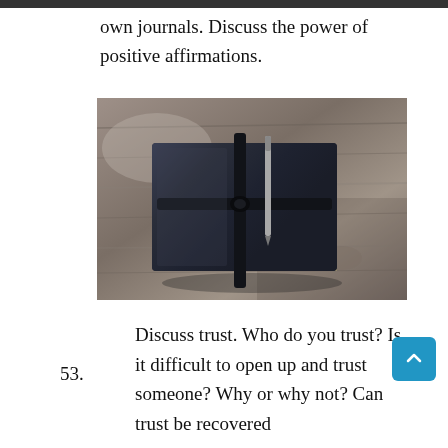own journals. Discuss the power of positive affirmations.
[Figure (photo): A dark navy/black leather journal with a strap and pen resting on a weathered wooden surface]
53.	Discuss trust. Who do you trust? Is it difficult to open up and trust someone? Why or why not? Can trust be recovered